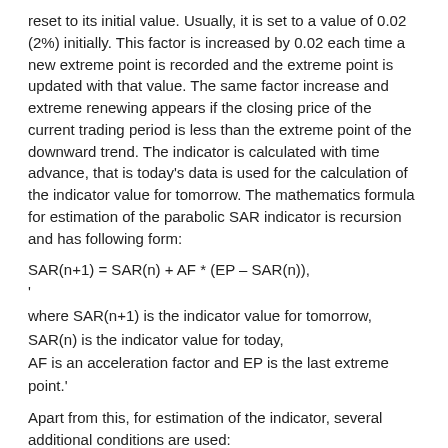reset to its initial value. Usually, it is set to a value of 0.02 (2%) initially. This factor is increased by 0.02 each time a new extreme point is recorded and the extreme point is updated with that value. The same factor increase and extreme renewing appears if the closing price of the current trading period is less than the extreme point of the downward trend. The indicator is calculated with time advance, that is today's data is used for the calculation of the indicator value for tomorrow. The mathematics formula for estimation of the parabolic SAR indicator is recursion and has following form:
where SAR(n+1) is the indicator value for tomorrow,
SAR(n) is the indicator value for today,
AF is an acceleration factor and EP is the last extreme point.'
Apart from this, for estimation of the indicator, several additional conditions are used:
if tomorrow's SAR(n+1) value is within or beyond the today's (n) or the yesterday's (n-1) trading day price range, then its value is set